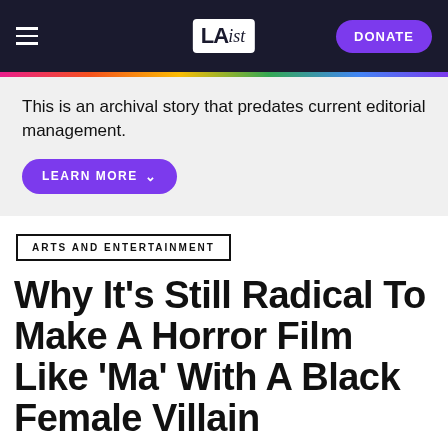LAist — DONATE
This is an archival story that predates current editorial management.
ARTS AND ENTERTAINMENT
Why It's Still Radical To Make A Horror Film Like 'Ma' With A Black Female Villain